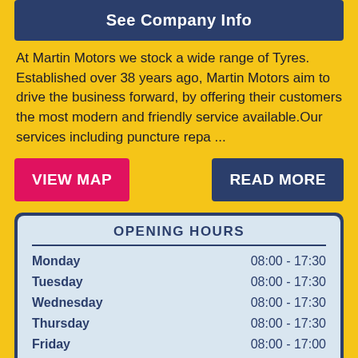See Company Info
At Martin Motors we stock a wide range of Tyres. Established over 38 years ago, Martin Motors aim to drive the business forward, by offering their customers the most modern and friendly service available.Our services including puncture repa ...
VIEW MAP
READ MORE
| Day | Hours |
| --- | --- |
| Monday | 08:00 - 17:30 |
| Tuesday | 08:00 - 17:30 |
| Wednesday | 08:00 - 17:30 |
| Thursday | 08:00 - 17:30 |
| Friday | 08:00 - 17:00 |
| Saturday | closed |
| Sunday | closed |